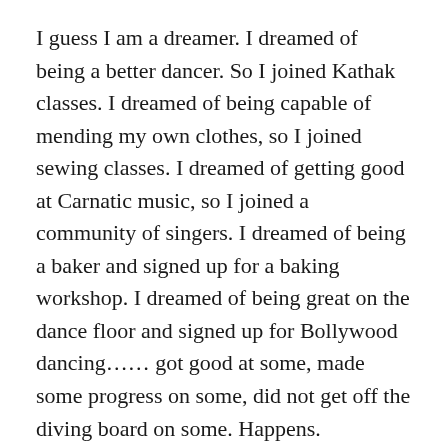I guess I am a dreamer. I dreamed of being a better dancer. So I joined Kathak classes. I dreamed of being capable of mending my own clothes, so I joined sewing classes. I dreamed of getting good at Carnatic music, so I joined a community of singers. I dreamed of being a baker and signed up for a baking workshop. I dreamed of being great on the dance floor and signed up for Bollywood dancing…… got good at some, made some progress on some, did not get off the diving board on some. Happens.
I would like to believe that enthusiastic people are dreamers. Maybe not at the level of a Musk or a Picasso, but even a simple dream as to bake one's